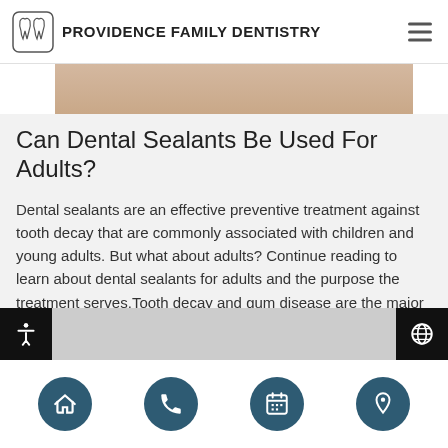Providence Family Dentistry
Can Dental Sealants Be Used For Adults?
Dental sealants are an effective preventive treatment against tooth decay that are commonly associated with children and young adults. But what about adults? Continue reading to learn about dental sealants for adults and the purpose the treatment serves.Tooth decay and gum disease are the major causes of tooth loss in adults. The two conditions are…